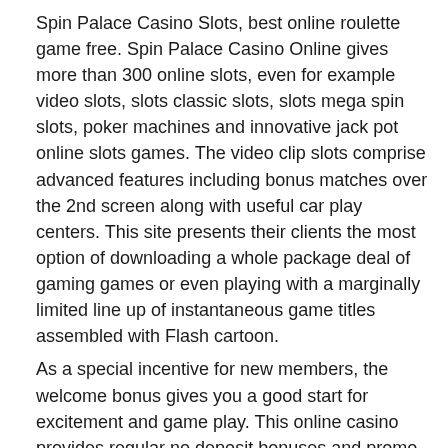Spin Palace Casino Slots, best online roulette game free. Spin Palace Casino Online gives more than 300 online slots, even for example video slots, slots classic slots, slots mega spin slots, poker machines and innovative jack pot online slots games. The video clip slots comprise advanced features including bonus matches over the 2nd screen along with useful car play centers. This site presents their clients the most option of downloading a whole package deal of gaming games or even playing with a marginally limited line up of instantaneous game titles assembled with Flash cartoon.
As a special incentive for new members, the welcome bonus gives you a good start for excitement and game play. This online casino provides regular no deposit bonuses and promo codes to …15. And